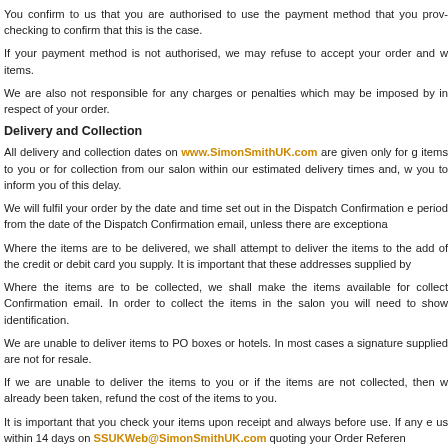You confirm to us that you are authorised to use the payment method that you provide when checking to confirm that this is the case.
If your payment method is not authorised, we may refuse to accept your order and we may be charged items.
We are also not responsible for any charges or penalties which may be imposed by in respect of your order.
Delivery and Collection
All delivery and collection dates on www.SimonSmithUK.com are given only for items to you or for collection from our salon within our estimated delivery times and, we will contact you to inform you of this delay.
We will fulfil your order by the date and time set out in the Dispatch Confirmation email, unless there are exceptiona period from the date of the Dispatch Confirmation email, unless there are exceptional
Where the items are to be delivered, we shall attempt to deliver the items to the address of the credit or debit card you supply. It is important that these addresses supplied by
Where the items are to be collected, we shall make the items available for collection Confirmation email. In order to collect the items in the salon you will need to show identification.
We are unable to deliver items to PO boxes or hotels. In most cases a signature supplied are not for resale.
If we are unable to deliver the items to you or if the items are not collected, then we already been taken, refund the cost of the items to you.
It is important that you check your items upon receipt and always before use. If any e us within 14 days on SSUKWeb@SimonSmithUK.com quoting your Order Reference